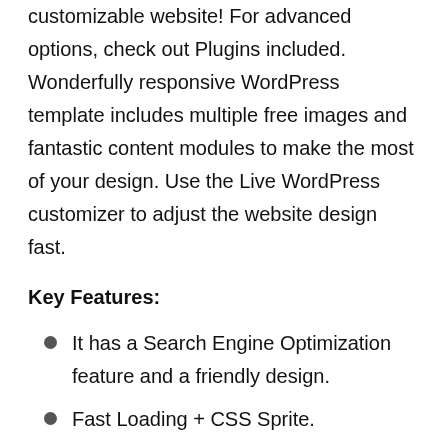customizable website! For advanced options, check out Plugins included. Wonderfully responsive WordPress template includes multiple free images and fantastic content modules to make the most of your design. Use the Live WordPress customizer to adjust the website design fast.
Key Features:
It has a Search Engine Optimization feature and a friendly design.
Fast Loading + CSS Sprite.
It supports multiple currencies and languages.
GoDown comes with Google Map